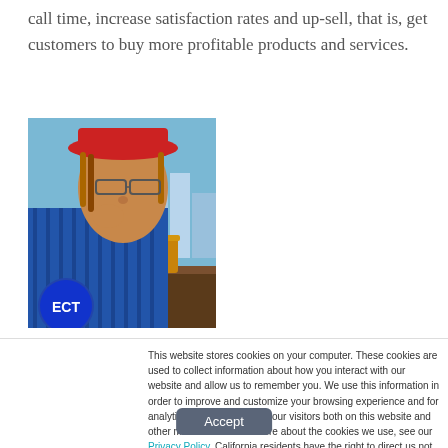call time, increase satisfaction rates and up-sell, that is, get customers to buy more profitable products and services.
[Figure (illustration): Illustrated image of a person wearing a red hat and blue striped clothing, looking down thoughtfully, with a city skyline in the background and ECT logo in the lower left corner.]
This website stores cookies on your computer. These cookies are used to collect information about how you interact with our website and allow us to remember you. We use this information in order to improve and customize your browsing experience and for analytics and metrics about our visitors both on this website and other media. To find out more about the cookies we use, see our Privacy Policy. California residents have the right to direct us not to sell their personal information to third parties by filing an Opt-Out Request: Do Not Sell My Personal Info.